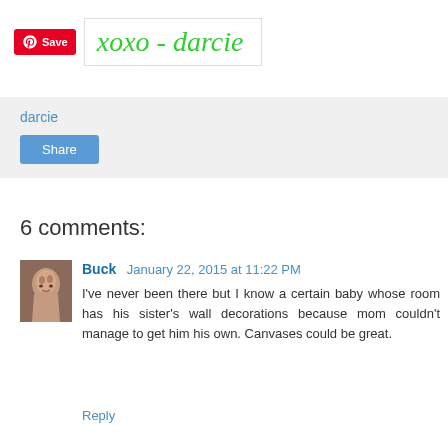[Figure (illustration): Handwritten-style signature reading 'xoxo - darcie' in green cursive font inside a white box, with a Pinterest Save button to the left]
darcie
Share
6 comments:
Buck January 22, 2015 at 11:22 PM
I've never been there but I know a certain baby whose room has his sister's wall decorations because mom couldn't manage to get him his own. Canvases could be great.
Reply